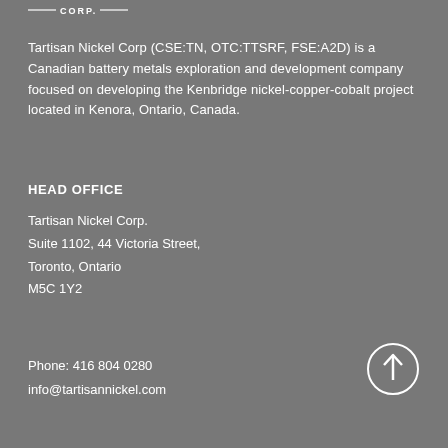[Figure (logo): Tartisan Nickel Corp logo with horizontal lines and CORP. text]
Tartisan Nickel Corp (CSE:TN, OTC:TTSRF, FSE:A2D) is a Canadian battery metals exploration and development company focused on developing the Kenbridge nickel-copper-cobalt project located in Kenora, Ontario, Canada.
HEAD OFFICE
Tartisan Nickel Corp.
Suite 1102, 44 Victoria Street,
Toronto, Ontario
M5C 1Y2
Phone: 416 804 0280
info@tartisannickel.com
[Figure (illustration): Circle with upward arrow icon for scroll-to-top navigation]